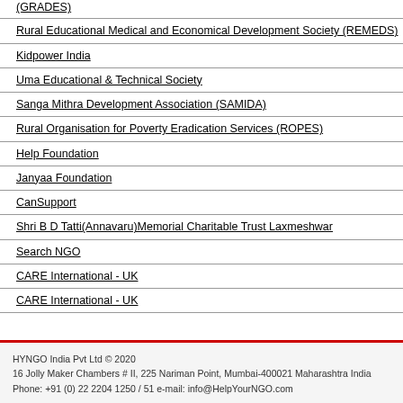(GRADES)
Rural Educational Medical and Economical Development Society (REMEDS)
Kidpower India
Uma Educational & Technical Society
Sanga Mithra Development Association (SAMIDA)
Rural Organisation for Poverty Eradication Services (ROPES)
Help Foundation
Janyaa Foundation
CanSupport
Shri B D Tatti(Annavaru)Memorial Charitable Trust Laxmeshwar
Search NGO
CARE International - UK
CARE International - UK
HYNGO India Pvt Ltd © 2020
16 Jolly Maker Chambers # II, 225 Nariman Point, Mumbai-400021 Maharashtra India
Phone: +91 (0) 22 2204 1250 / 51 e-mail: info@HelpYourNGO.com